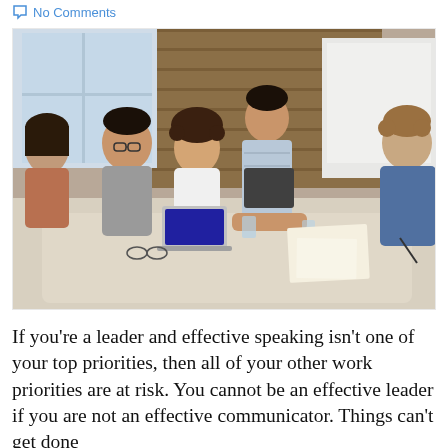No Comments
[Figure (photo): A group of people sitting around a conference table in a modern office with wood-paneled walls. A man in a striped shirt stands and leans over the table, appearing to lead a discussion. Others around the table listen attentively. A laptop and glasses are visible on the table.]
If you're a leader and effective speaking isn't one of your top priorities, then all of your other work priorities are at risk. You cannot be an effective leader if you are not an effective communicator. Things can't get done